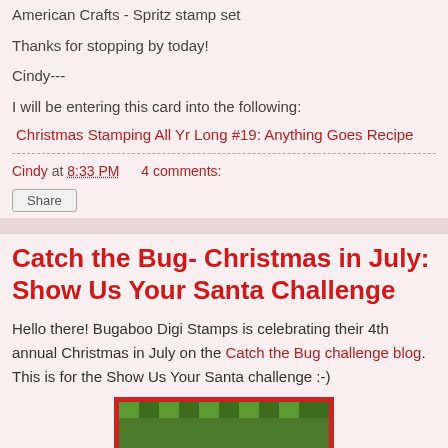American Crafts - Spritz stamp set
Thanks for stopping by today!
Cindy---
I will be entering this card into the following:
Christmas Stamping All Yr Long #19:  Anything Goes Recipe
Cindy at 8:33 PM    4 comments:
Share
Catch the Bug- Christmas in July: Show Us Your Santa Challenge
Hello there!  Bugaboo Digi Stamps is celebrating their 4th annual Christmas in July on the Catch the Bug challenge blog.  This is for the Show Us Your Santa challenge :-)
[Figure (photo): Partial view of a card with red border and green patterned background]